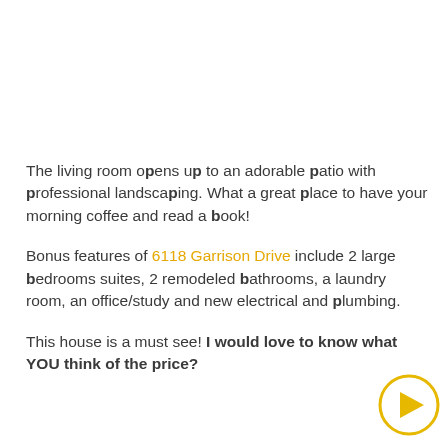The living room opens up to an adorable patio with professional landscaping. What a great place to have your morning coffee and read a book!
Bonus features of 6118 Garrison Drive include 2 large bedrooms suites, 2 remodeled bathrooms, a laundry room, an office/study and new electrical and plumbing.
This house is a must see! I would love to know what YOU think of the price?
[Figure (logo): Circular logo with yellow border and a yellow triangle/play button icon in the center]